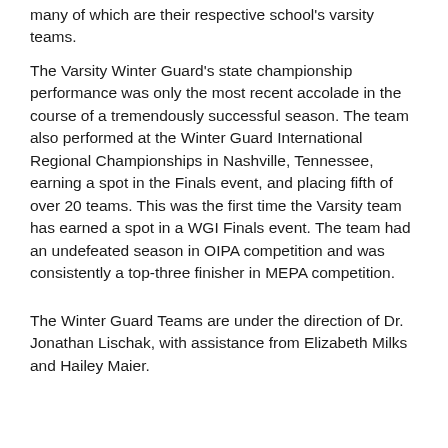many of which are their respective school's varsity teams.
The Varsity Winter Guard's state championship performance was only the most recent accolade in the course of a tremendously successful season. The team also performed at the Winter Guard International Regional Championships in Nashville, Tennessee, earning a spot in the Finals event, and placing fifth of over 20 teams. This was the first time the Varsity team has earned a spot in a WGI Finals event. The team had an undefeated season in OIPA competition and was consistently a top-three finisher in MEPA competition.
The Winter Guard Teams are under the direction of Dr. Jonathan Lischak, with assistance from Elizabeth Milks and Hailey Maier.